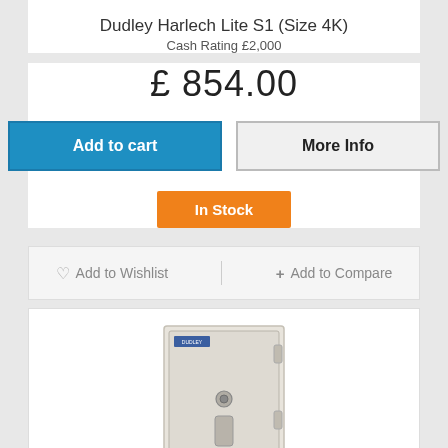Dudley Harlech Lite S1 (Size 4K)
Cash Rating £2,000
£ 854.00
Add to cart
More Info
In Stock
♡ Add to Wishlist
+ Add to Compare
[Figure (photo): Photo of a Dudley Harlech Lite S1 (Size 4K) floor safe, light beige/cream colored, upright cabinet style with a key lock and handle on the front door, manufacturer logo badge visible at top.]